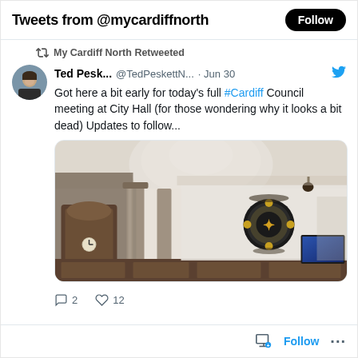Tweets from @mycardiffnorth
My Cardiff North Retweeted
Ted Pesk... @TedPeskettN... · Jun 30
Got here a bit early for today's full #Cardiff Council meeting at City Hall (for those wondering why it looks a bit dead) Updates to follow...
[Figure (photo): Interior of Cardiff City Hall council chamber showing ornate white walls, marble columns, wooden panelling, a decorative coat of arms, a clock, and a TV screen.]
2 replies, 12 likes
Follow